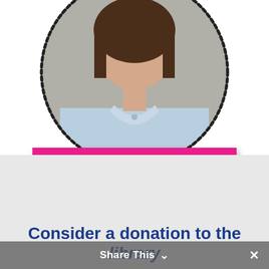[Figure (photo): Circular cropped photo of a young girl wearing a light blue polo shirt, shown from shoulders up, with a dashed/dotted circular border around the image]
DONATE NOW
Consider a donation to the library
Share This ×